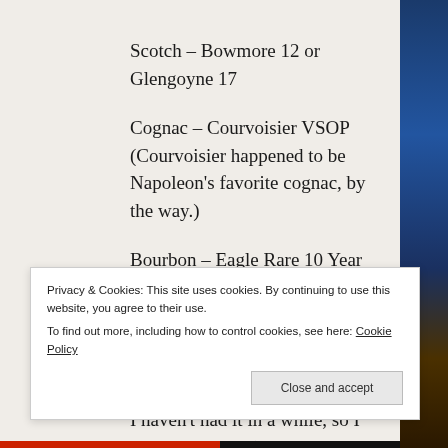Scotch – Bowmore 12 or Glengoyne 17
Cognac – Courvoisier VSOP (Courvoisier happened to be Napoleon's favorite cognac, by the way.)
Bourbon – Eagle Rare 10 Year Old
Wine – a slightly sweet and nutty amontillado (Hartley & Gibson's Amontillado perhaps?  I haven't had it in a while, so I might be wrong.) or Sandeman's Rainwater Madeira
Beer – Weyerbacher's Blithering Idiot Barleywine
Privacy & Cookies: This site uses cookies. By continuing to use this website, you agree to their use.
To find out more, including how to control cookies, see here: Cookie Policy
Close and accept